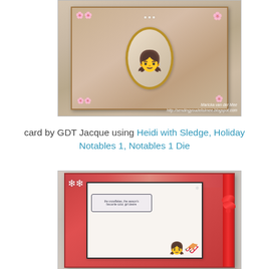[Figure (photo): Photo of a handmade craft card featuring a girl doll illustration in an oval frame, surrounded by pink flowers and pearl embellishments on a tan/brown background, with a watermark from sendingyoudelislmee.blogspot.com]
card by GDT Jacque using Heidi with Sledge, Holiday Notables 1, Notables 1 Die
[Figure (photo): Photo of a handmade Christmas craft card in red and white colors, featuring a girl character with a sledge, snowflake embellishments, a sentiment label, red ribbon and bow on the side]